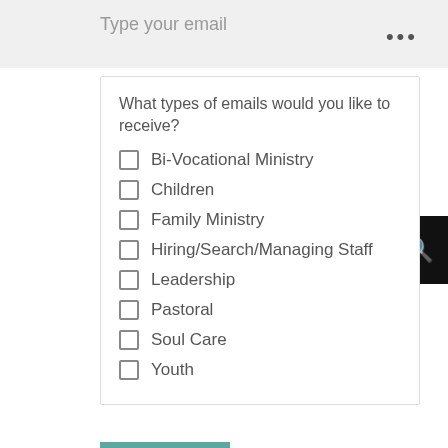Type your email
...
What types of emails would you like to receive?
Bi-Vocational Ministry
Children
Family Ministry
Hiring/Search/Managing Staff
Leadership
Pastoral
Soul Care
Youth